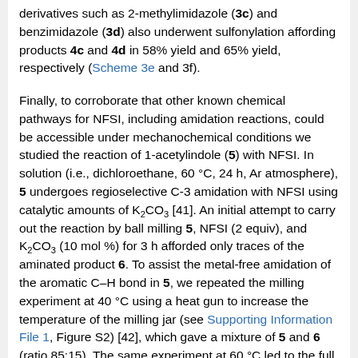derivatives such as 2-methylimidazole (3c) and benzimidazole (3d) also underwent sulfonylation affording products 4c and 4d in 58% yield and 65% yield, respectively (Scheme 3e and 3f).
Finally, to corroborate that other known chemical pathways for NFSI, including amidation reactions, could be accessible under mechanochemical conditions we studied the reaction of 1-acetylindole (5) with NFSI. In solution (i.e., dichloroethane, 60 °C, 24 h, Ar atmosphere), 5 undergoes regioselective C-3 amidation with NFSI using catalytic amounts of K2CO3 [41]. An initial attempt to carry out the reaction by ball milling 5, NFSI (2 equiv), and K2CO3 (10 mol %) for 3 h afforded only traces of the aminated product 6. To assist the metal-free amidation of the aromatic C–H bond in 5, we repeated the milling experiment at 40 °C using a heat gun to increase the temperature of the milling jar (see Supporting Information File 1, Figure S2) [42], which gave a mixture of 5 and 6 (ratio 85:15). The same experiment at 60 °C led to the full consumption of 5 after 1.5 h of milling and product 6 could be isolated in moderate 37% yield (Scheme 4). Formation of 6 in the absence of external heating was also possible after